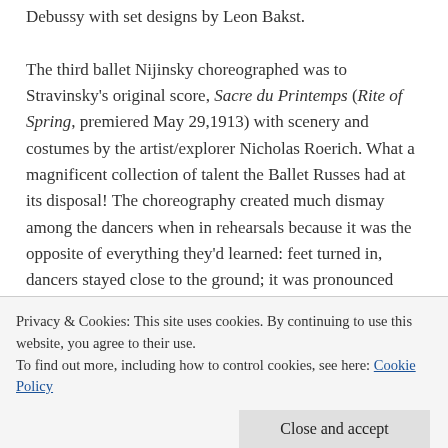Debussy with set designs by Leon Bakst. The third ballet Nijinsky choreographed was to Stravinsky's original score, Sacre du Printemps (Rite of Spring, premiered May 29,1913) with scenery and costumes by the artist/explorer Nicholas Roerich. What a magnificent collection of talent the Ballet Russes had at its disposal! The choreography created much dismay among the dancers when in rehearsals because it was the opposite of everything they'd learned: feet turned in, dancers stayed close to the ground; it was pronounced 'ugly'.
The inspiration came from Russian pagan primitivism. It is the
Privacy & Cookies: This site uses cookies. By continuing to use this website, you agree to their use. To find out more, including how to control cookies, see here: Cookie Policy
so they could keep time as the noise was louder than the